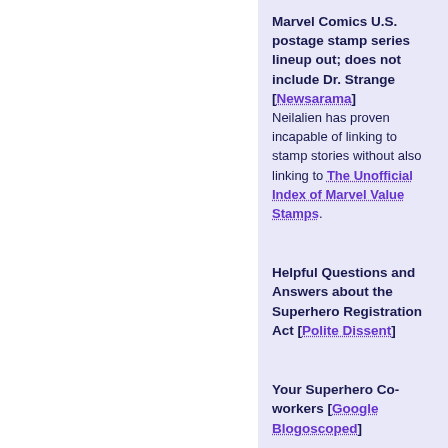Marvel Comics U.S. postage stamp series lineup out; does not include Dr. Strange [Newsarama] Neilalien has proven incapable of linking to stamp stories without also linking to The Unofficial Index of Marvel Value Stamps.
Helpful Questions and Answers about the Superhero Registration Act [Polite Dissent]
Your Superhero Co-workers [Google Blogoscoped]